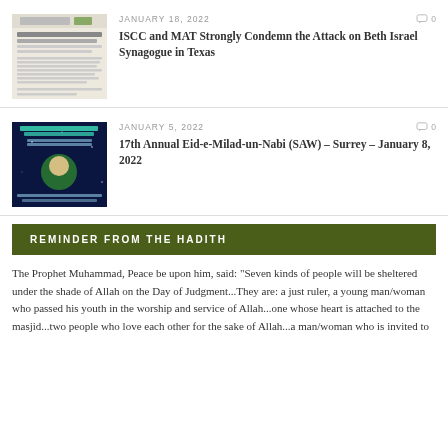[Figure (screenshot): Thumbnail of ISCC and MAT document about Beth Israel Synagogue attack]
JANUARY 18, 2022
0
ISCC and MAT Strongly Condemn the Attack on Beth Israel Synagogue in Texas
[Figure (screenshot): Thumbnail of 17th Annual Eid-e-Milad-un-Nabi event poster]
JANUARY 5, 2022
0
17th Annual Eid-e-Milad-un-Nabi (SAW) – Surrey – January 8, 2022
REMINDER FROM THE HADITH
The Prophet Muhammad, Peace be upon him, said: "Seven kinds of people will be sheltered under the shade of Allah on the Day of Judgment...They are: a just ruler, a young man/woman who passed his youth in the worship and service of Allah...one whose heart is attached to the masjid...two people who love each other for the sake of Allah...a man/woman who is invited to